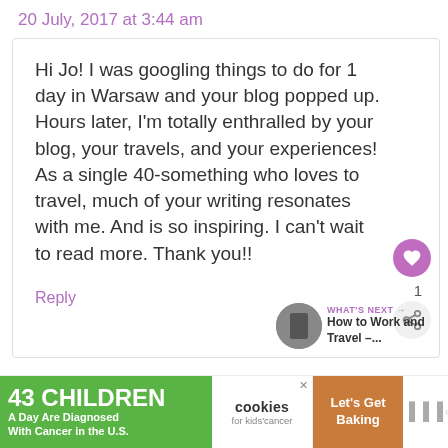20 July, 2017 at 3:44 am
Hi Jo! I was googling things to do for 1 day in Warsaw and your blog popped up. Hours later, I'm totally enthralled by your blog, your travels, and your experiences! As a single 40-something who loves to travel, much of your writing resonates with me. And is so inspiring. I can't wait to read more. Thank you!!
Reply
WHAT'S NEXT → How to Work and Travel –...
[Figure (infographic): Advertisement banner: 43 CHILDREN A Day Are Diagnosed With Cancer in the U.S. | cookies for kids cancer | Let's Get Baking]